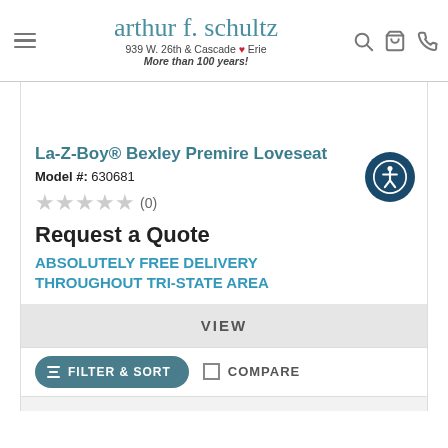arthur f. schultz — 939 W. 26th & Cascade ❤ Erie — More than 100 years!
La-Z-Boy® Bexley Premire Loveseat
Model #: 630681
★★★★★ (0)
Request a Quote
ABSOLUTELY FREE DELIVERY THROUGHOUT TRI-STATE AREA
VIEW
FILTER & SORT
COMPARE